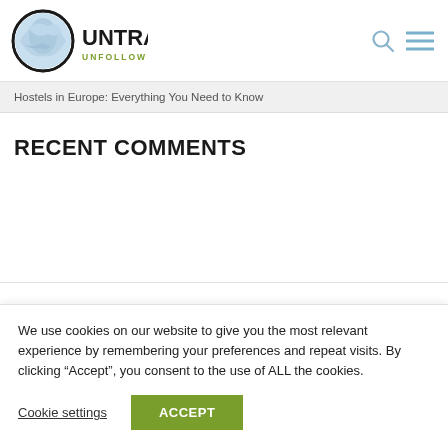[Figure (logo): Untraveled logo with globe icon and tagline 'UNFOLLOW THE CROWD']
Hostels in Europe: Everything You Need to Know
RECENT COMMENTS
We use cookies on our website to give you the most relevant experience by remembering your preferences and repeat visits. By clicking “Accept”, you consent to the use of ALL the cookies.